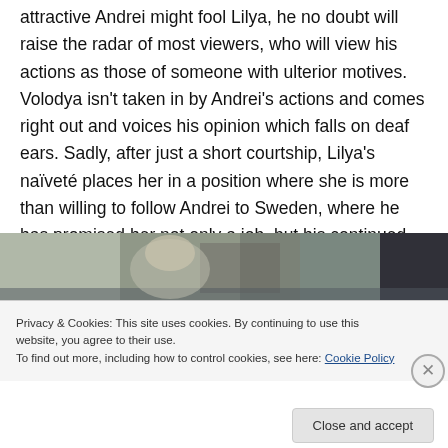attractive Andrei might fool Lilya, he no doubt will raise the radar of most viewers, who will view his actions as those of someone with ulterior motives. Volodya isn't taken in by Andrei's actions and comes right out and voices his opinion which falls on deaf ears. Sadly, after just a short courtship, Lilya's naïveté places her in a position where she is more than willing to follow Andrei to Sweden, where he has promised her not only a job, but his continued love and support.
[Figure (photo): A cropped screenshot of a film scene showing a person's head/upper body in dim, muted tones of grey and brown.]
Privacy & Cookies: This site uses cookies. By continuing to use this website, you agree to their use.
To find out more, including how to control cookies, see here: Cookie Policy